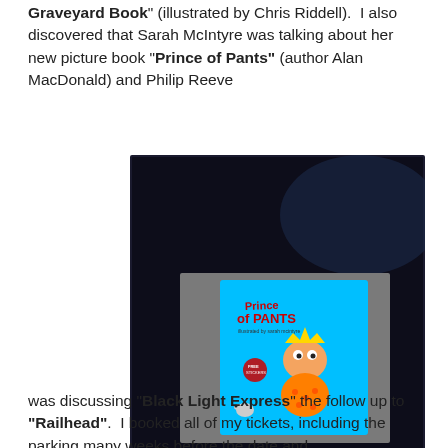Graveyard Book" (illustrated by Chris Riddell).  I also discovered that Sarah McIntyre was talking about her new picture book "Prince of Pants" (author Alan MacDonald) and Philip Reeve
[Figure (photo): Dark auditorium scene with a large projection screen showing the cover of the children's book 'Prince of Pants' featuring a cartoon king character wearing orange spotted pants, with colourful illustrated characters.]
was discussing "Black Light Express" the follow up to "Railhead".  I booked all of my tickets, including the parking many weeks before the date and